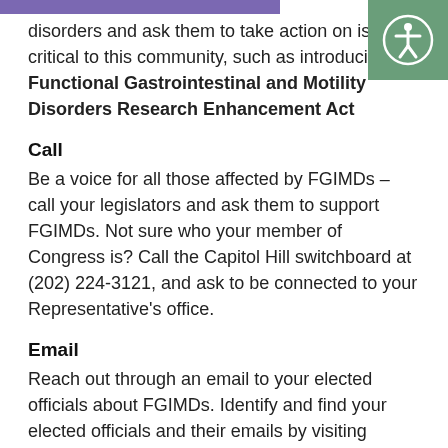disorders and ask them to take action on issues critical to this community, such as introducing the Functional Gastrointestinal and Motility Disorders Research Enhancement Act
Call
Be a voice for all those affected by FGIMDs – call your legislators and ask them to support FGIMDs. Not sure who your member of Congress is? Call the Capitol Hill switchboard at (202) 224-3121, and ask to be connected to your Representative's office.
Email
Reach out through an email to your elected officials about FGIMDs. Identify and find your elected officials and their emails by visiting www.house.gov for the US House of Representatives (or www.senate.gov for the US Senate) and entering your zip code in the box at the right corner.